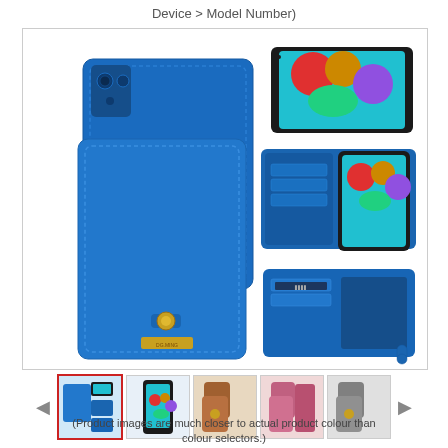Device > Model Number)
[Figure (photo): Blue leather wallet phone case for Samsung Galaxy A52, shown from multiple angles: front closed view with gold snap button, open wallet view showing card slots, and phone standing in case. Four smaller angle views on the right side.]
[Figure (photo): Thumbnail gallery row with 5 product images: blue wallet case multi-view, phone in blue case front, brown wallet case, pink/rose wallet case, grey wallet case. Navigation arrows on left and right.]
(Product images are much closer to actual product colour than colour selectors.)